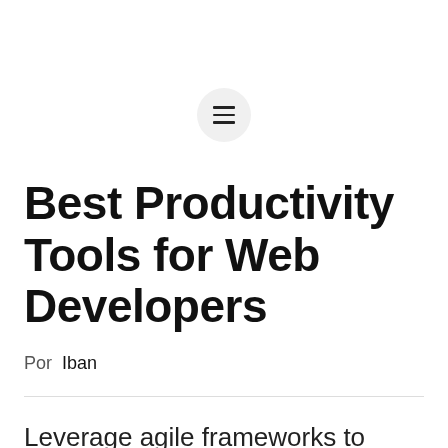[Figure (other): Hamburger menu button icon — three horizontal lines inside a circular light-gray button]
Best Productivity Tools for Web Developers
Por  Iban
Leverage agile frameworks to provide a robust synopsis for high level overviews